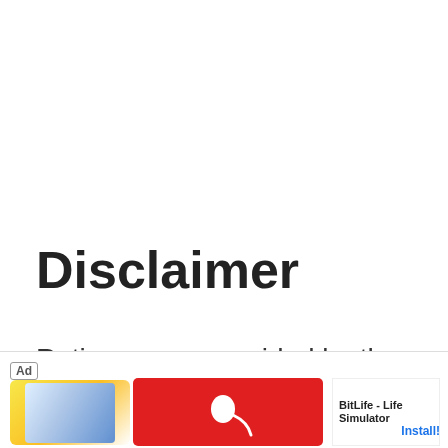Disclaimer
Ratings were provided by the manufacturer to the U.S. Department of Energy, which is where we sourced the data. Be advised that manufacturers may have...